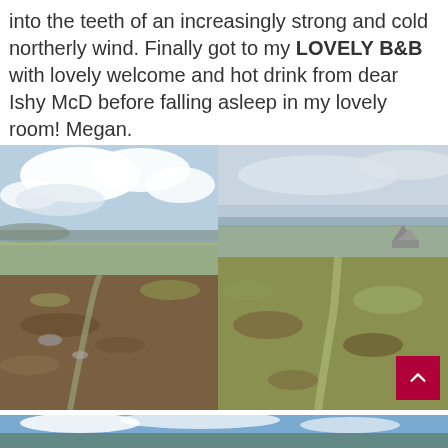into the teeth of an increasingly strong and cold northerly wind. Finally got to my LOVELY B&B with lovely welcome and hot drink from dear Ishy McD before falling asleep in my lovely room! Megan.
[Figure (photo): Landscape photo of open moorland/bogland with cloudy sky and distant hills on the left side]
[Figure (photo): Landscape photo of open moorland/bogland with stone cairn visible on the right side and overcast sky]
[Figure (photo): Partial bottom strip showing blue sky and landscape, cropped]